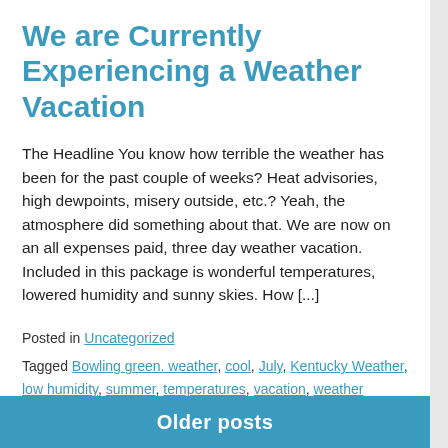We are Currently Experiencing a Weather Vacation
The Headline You know how terrible the weather has been for the past couple of weeks? Heat advisories, high dewpoints, misery outside, etc.? Yeah, the atmosphere did something about that. We are now on an all expenses paid, three day weather vacation. Included in this package is wonderful temperatures, lowered humidity and sunny skies. How [...]
Posted in Uncategorized
Tagged Bowling green. weather, cool, July, Kentucky Weather, low humidity, summer, temperatures, vacation, weather
Older posts